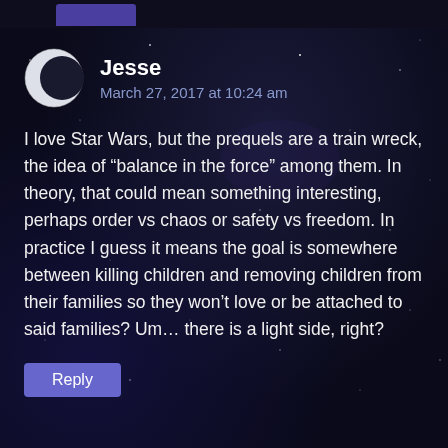Jesse
March 27, 2017 at 10:24 am
I love Star Wars, but the prequels are a train wreck, the idea of “balance in the force” among them. In theory, that could mean something interesting, perhaps order vs chaos or safety vs freedom. In practice I guess it means the goal is somewhere between killing children and removing children from their families so they won’t love or be attached to said families? Um… there is a light side, right?
Reply